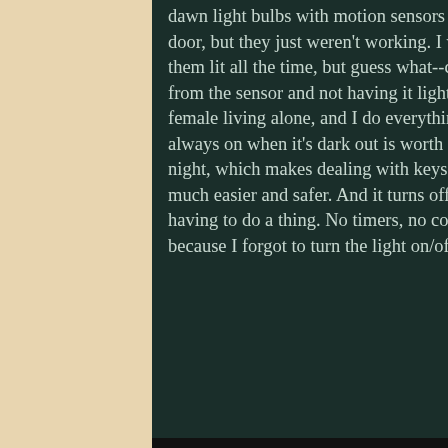dawn light bulbs with motion sensors a month or two ago for the fixture outside my front door, but they just weren't working. I was trying to save some electricity by not having them lit all the time, but guess what--coming in and out of the door literally a foot away from the sensor and not having it light up was a serious pain in the tush. Plus, I'm a single female living alone, and I do everything I can to increase my security. Having these bulbs always on when it's dark out is worth it to me. It's always lit up when I come and go at night, which makes dealing with keys and steps and grocery bags and whatever else so much easier and safer. And it turns off during the day when it's not needed without me having to do a thing. No timers, no constantly remembering to flip the switch or cursing because I forgot to turn the light on/off. Easy.